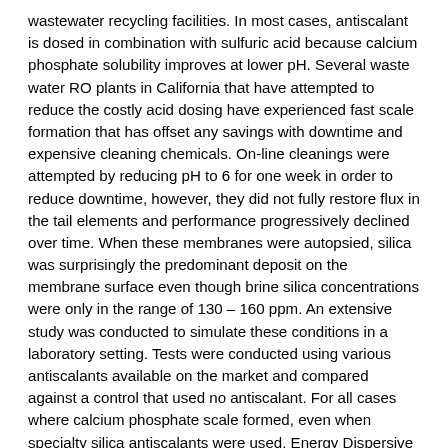wastewater recycling facilities. In most cases, antiscalant is dosed in combination with sulfuric acid because calcium phosphate solubility improves at lower pH. Several waste water RO plants in California that have attempted to reduce the costly acid dosing have experienced fast scale formation that has offset any savings with downtime and expensive cleaning chemicals. On-line cleanings were attempted by reducing pH to 6 for one week in order to reduce downtime, however, they did not fully restore flux in the tail elements and performance progressively declined over time. When these membranes were autopsied, silica was surprisingly the predominant deposit on the membrane surface even though brine silica concentrations were only in the range of 130 – 160 ppm. An extensive study was conducted to simulate these conditions in a laboratory setting. Tests were conducted using various antiscalants available on the market and compared against a control that used no antiscalant. For all cases where calcium phosphate scale formed, even when specialty silica antiscalants were used, Energy Dispersive X-Ray Spectroscopy (EDS) analysis indicated the presence of silica. Quantification revealed that silicon